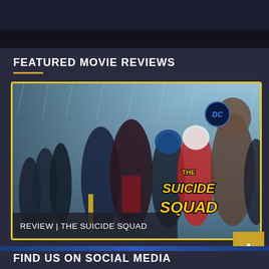[Figure (screenshot): Top banner area of a movie review website, dark navy background]
FEATURED MOVIE REVIEWS
[Figure (photo): Movie poster/banner for 'The Suicide Squad' - DC film showing characters running in rain with yellow title logo on right side]
REVIEW | THE SUICIDE SQUAD
FIND US ON SOCIAL MEDIA